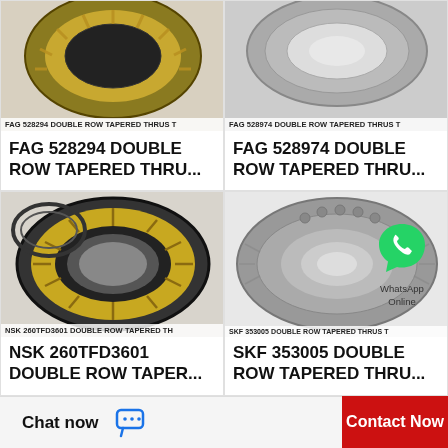[Figure (photo): FAG 528294 double row tapered thrust bearing, gold/brass cage, top portion visible]
FAG 528294 DOUBLE ROW TAPERED THRUS T
FAG 528294 DOUBLE ROW TAPERED THRU...
[Figure (photo): FAG 528974 double row tapered thrust bearing, silver, top portion visible]
FAG 528974 DOUBLE ROW TAPERED THRUS T
FAG 528974 DOUBLE ROW TAPERED THRU...
[Figure (photo): NSK 260TFD3601 double row tapered thrust bearing with gold/brass cage, full view]
NSK 260TFD3601 DOUBLE ROW TAPERED TH
NSK 260TFD3601 DOUBLE ROW TAPER...
[Figure (photo): SKF 353005 double row tapered thrust bearing, silver/grey, with WhatsApp Online overlay]
SKF 353005 DOUBLE ROW TAPERED THRUS T
SKF 353005 DOUBLE ROW TAPERED THRU...
Chat now
Contact Now